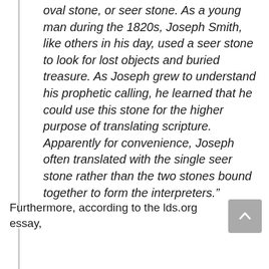oval stone, or seer stone. As a young man during the 1820s, Joseph Smith, like others in his day, used a seer stone to look for lost objects and buried treasure. As Joseph grew to understand his prophetic calling, he learned that he could use this stone for the higher purpose of translating scripture. Apparently for convenience, Joseph often translated with the single seer stone rather than the two stones bound together to form the interpreters.”
Furthermore, according to the lds.org essay,